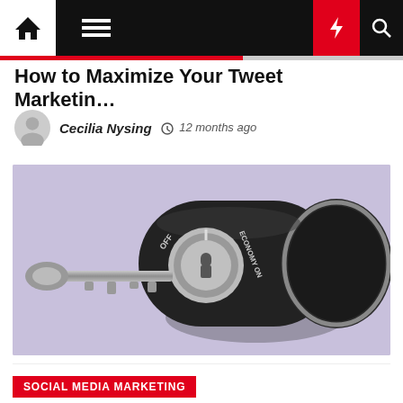Navigation bar with home, menu, dark mode, flash, and search icons
How to Maximize Your Tweet Marketin…
Cecilia Nysing  12 months ago
[Figure (photo): Close-up photograph of a black cylindrical key switch/lock knob with a metal key inserted, showing OFF and ECONOMY ON labels, on a light purple background]
SOCIAL MEDIA MARKETING